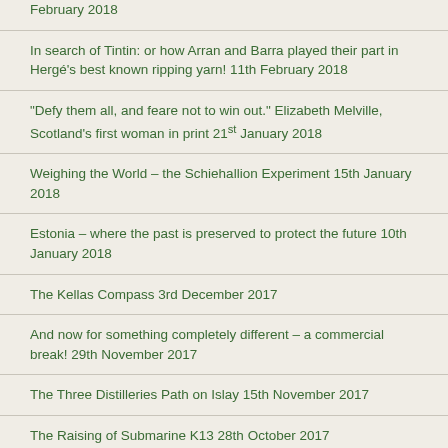February 2018
In search of Tintin: or how Arran and Barra played their part in Hergé's best known ripping yarn! 11th February 2018
"Defy them all, and feare not to win out." Elizabeth Melville, Scotland's first woman in print 21st January 2018
Weighing the World – the Schiehallion Experiment 15th January 2018
Estonia – where the past is preserved to protect the future 10th January 2018
The Kellas Compass 3rd December 2017
And now for something completely different – a commercial break! 29th November 2017
The Three Distilleries Path on Islay 15th November 2017
The Raising of Submarine K13 28th October 2017
Thomas Grant Dey 14th October 2017
Glorious Glen Finglas 22nd September 2017
Coire Fhionn Lochan – Arran at its best 21st August 2017